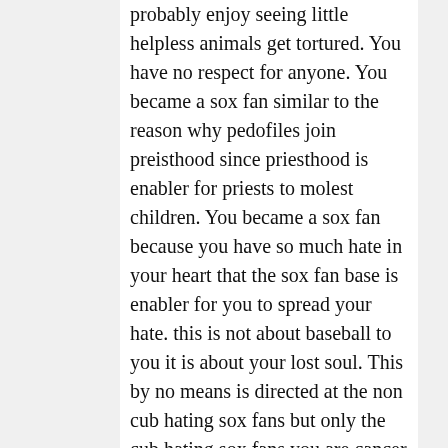probably enjoy seeing little helpless animals get tortured. You have no respect for anyone. You became a sox fan similar to the reason why pedofiles join preisthood since priesthood is enabler for priests to molest children. You became a sox fan because you have so much hate in your heart that the sox fan base is enabler for you to spread your hate. this is not about baseball to you it is about your lost soul. This by no means is directed at the non cub hating sox fans but only the cub hating sox fans you are cancer to the white sox and the city of